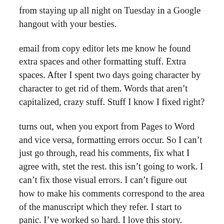from staying up all night on Tuesday in a Google hangout with your besties.
email from copy editor lets me know he found extra spaces and other formatting stuff. Extra spaces. After I spent two days going character by character to get rid of them. Words that aren’t capitalized, crazy stuff. Stuff I know I fixed right?
turns out, when you export from Pages to Word and vice versa, formatting errors occur. So I can’t just go through, read his comments, fix what I agree with, stet the rest. this isn’t going to work. I can’t fix those visual errors. I can’t figure out how to make his comments correspond to the area of the manuscript which they refer. I start to panic. I’ve worked so hard. I love this story.